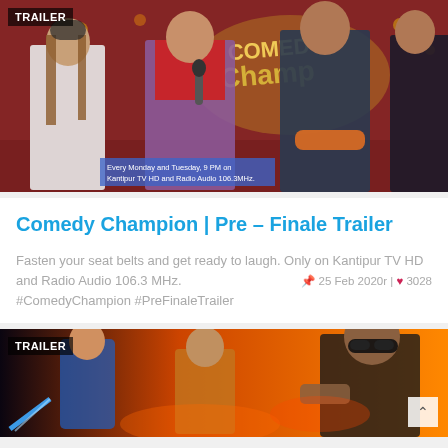[Figure (screenshot): Thumbnail image of Comedy Champion show. Three people on stage with Comedy Champion backdrop. A woman in white, a woman in purple saree holding microphone, and two men in suits. Badge 'TRAILER' top left. Broadcast info overlay at bottom: 'Every Monday and Tuesday, 9 PM on Kantipur TV HD and Radio Audio 106.3MHz.']
Comedy Champion | Pre – Finale Trailer
Fasten your seat belts and get ready to laugh. Only on Kantipur TV HD and Radio Audio 106.3 MHz. #ComedyChampion #PreFinaleTrailer
25 Feb 2020r | ♥ 3028
[Figure (screenshot): Thumbnail image of an animated/action movie trailer with characters including a bald man with sunglasses and action hero figures against orange background. Badge 'TRAILER' top left.]